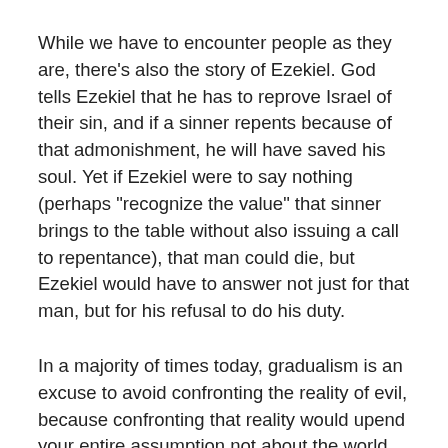While we have to encounter people as they are, there's also the story of Ezekiel. God tells Ezekiel that he has to reprove Israel of their sin, and if a sinner repents because of that admonishment, he will have saved his soul. Yet if Ezekiel were to say nothing (perhaps "recognize the value" that sinner brings to the table without also issuing a call to repentance), that man could die, but Ezekiel would have to answer not just for that man, but for his refusal to do his duty.
In a majority of times today, gradualism is an excuse to avoid confronting the reality of evil, because confronting that reality would upend your entire assumption not about the world, but about the nature of the Church. Does anyone expect a bunch of self-referential clericalists (two phrases the Pope uses to describe a lot of the Church today) to reform each other in...